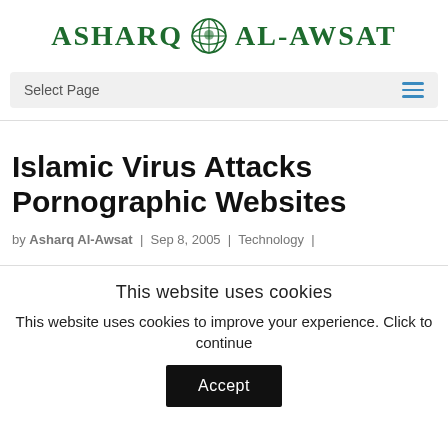[Figure (logo): Asharq Al-Awsat newspaper logo with green globe icon and serif text]
Select Page
Islamic Virus Attacks Pornographic Websites
by Asharq Al-Awsat | Sep 8, 2005 | Technology |
This website uses cookies
This website uses cookies to improve your experience. Click to continue